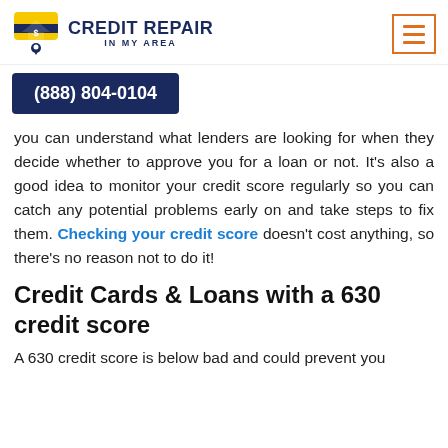CREDIT REPAIR IN MY AREA | (888) 804-0104
you can understand what lenders are looking for when they decide whether to approve you for a loan or not. It's also a good idea to monitor your credit score regularly so you can catch any potential problems early on and take steps to fix them. Checking your credit score doesn't cost anything, so there's no reason not to do it!
Credit Cards & Loans with a 630 credit score
A 630 credit score is below bad and could prevent you